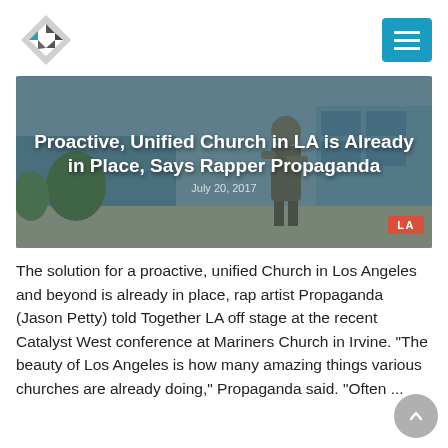Together LA logo and hamburger menu
[Figure (photo): Hero image with text overlay: 'Proactive, Unified Church in LA is Already in Place, Says Rapper Propaganda', dated July 20, 2017, with LA badge]
The solution for a proactive, unified Church in Los Angeles and beyond is already in place, rap artist Propaganda (Jason Petty) told Together LA off stage at the recent Catalyst West conference at Mariners Church in Irvine. “The beauty of Los Angeles is how many amazing things various churches are already doing,” Propaganda said. “Often ...